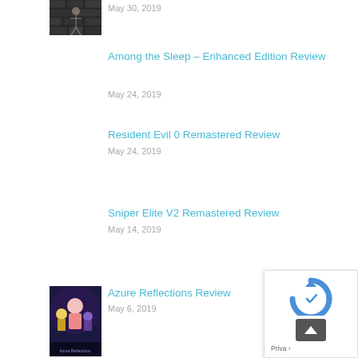[Figure (photo): Top partial thumbnail of a game scene (dark dungeon/skeleton)]
May 30, 2019
Among the Sleep – Enhanced Edition Review
May 24, 2019
Resident Evil 0 Remastered Review
May 24, 2019
Sniper Elite V2 Remastered Review
May 14, 2019
[Figure (photo): Thumbnail for Azure Reflections Review showing anime characters]
Azure Reflections Review
May 6, 2019
[Figure (other): reCAPTCHA / privacy widget overlay in bottom-right corner with back-to-top arrow button]